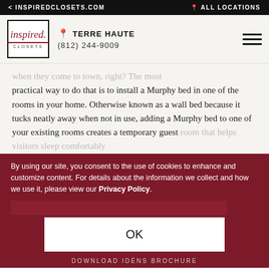< INSPIREDCLOSETS.COM | ALL LOCATIONS
[Figure (logo): Inspired Closets logo in a black-bordered box with cursive 'inspired' text and a strikethrough line]
TERRE HAUTE
(812) 244-9009
when they come to town, right? The most practical way to do that is to install a Murphy bed in one of the rooms in your home. Otherwise known as a wall bed because it tucks neatly away when not in use, adding a Murphy bed to one of your existing rooms creates a temporary guest room that helps visitors sleep comfortably
By using our site, you consent to the use of cookies to enhance and customize content. For details about the information we collect and how we use it, please view our Privacy Policy.
OK
DOWNLOAD IDÉNS BROCHURE